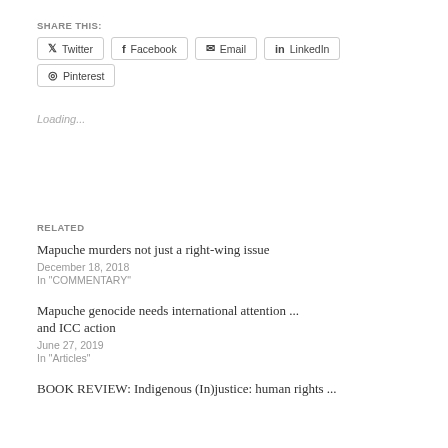SHARE THIS:
Twitter | Facebook | Email | LinkedIn | Pinterest
Loading...
RELATED
Mapuche murders not just a right-wing issue
December 18, 2018
In "COMMENTARY"
Mapuche genocide needs international attention ... and ICC action
June 27, 2019
In "Articles"
BOOK REVIEW: Indigenous (In)justice: human rights ...